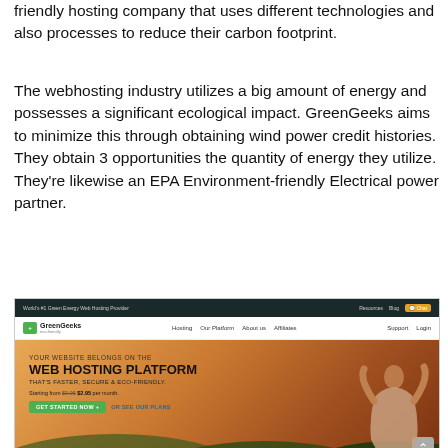friendly hosting company that uses different technologies and also processes to reduce their carbon footprint.
The webhosting industry utilizes a big amount of energy and possesses a significant ecological impact. GreenGeeks aims to minimize this through obtaining wind power credit histories. They obtain 3 opportunities the quantity of energy they utilize. They're likewise an EPA Environment-friendly Electrical power partner.
[Figure (screenshot): Screenshot of GreenGeeks website homepage showing dark top navigation bar, white nav bar with logo and links, and a hero banner with text 'YOUR WEBSITE BELONGS ON THE WEB HOSTING PLATFORM THAT'S FASTER, SECURE & ECO-FRIENDLY.' with a woman silhouette against a sunset landscape background.]